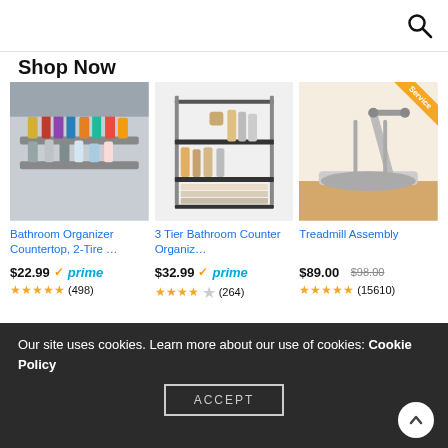Search icon (magnifying glass)
Shop Now
[Figure (photo): Bathroom organizer countertop with makeup and toiletry products on a 2-tier clear acrylic shelf]
Bathroom Organizer Countertop, 2-Tire …
$22.99 ✓prime (498) 4.5 stars
[Figure (photo): 3-tier black metal bathroom counter organizer shelf with toiletries and folded towels]
3 Tier Bathroom Counter Organiz…
$32.99 ✓prime (264) 4 stars
[Figure (photo): Treadmill exercise machine on a wooden floor with a Service badge in corner]
Treadmill Assembly
$89.00 $98.00 (15610) 5 stars
[Figure (photo): Partial white rounded-square product image at bottom left]
Top Tips
For Skin Care
[Figure (photo): Partial outdoor sky/jumping photo at bottom right]
Our site uses cookies. Learn more about our use of cookies: Cookie Policy
ACCEPT